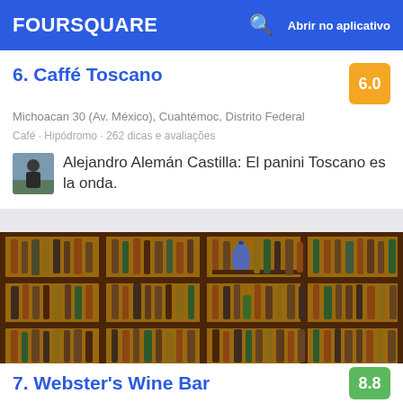FOURSQUARE  Abrir no aplicativo
6. Caffé Toscano  6.0
Michoacan 30 (Av. México), Cuahtémoc, Distrito Federal
Café · Hipódromo · 262 dicas e avaliações
Alejandro Alemán Castilla: El panini Toscano es la onda.
[Figure (photo): Photo of a wine bar interior showing wooden shelving units filled with many wine and liquor bottles arranged in rows and columns]
7. Webster's Wine Bar  8.8